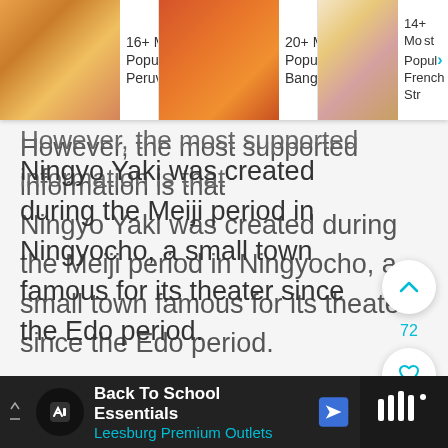[Figure (screenshot): Top navigation bar with three article links: '16+ Most Popular Peruvian...' with food image, '20+ Most Popular Bangkok...' with food image, '14+ Most Popular French Str...' with food image]
However, the most supported information is that Ningyo Yaki was created during the Meiji period in Ningyocho, a small town famous for its theater since the Edo period.
[Figure (screenshot): Right side UI buttons: upvote button (chevron up), count 72, heart/like button, and cyan search button]
[Figure (screenshot): Bottom advertisement bar: Back To School Essentials - Leesburg Premium Outlets, with navigation arrow icon and right side showing menu icon]